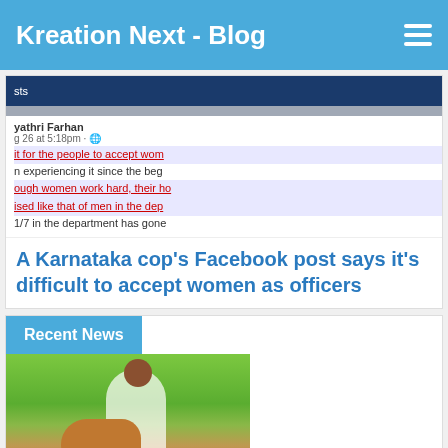Kreation Next - Blog
[Figure (screenshot): Partial Facebook post screenshot showing text about women officers in Karnataka police department]
A Karnataka cop's Facebook post says it's difficult to accept women as officers
Recent News
[Figure (photo): Outdoor photo of a man with an animal, appears to be a dog or similar animal in a rural/green setting]
Dog thrown from terrace: Two courts pay Rs 2 lakh each to AWBI
[Figure (logo): Comodo Secure badge with green thumbs up circle]
[Figure (other): Green Message button with alien/message icon]